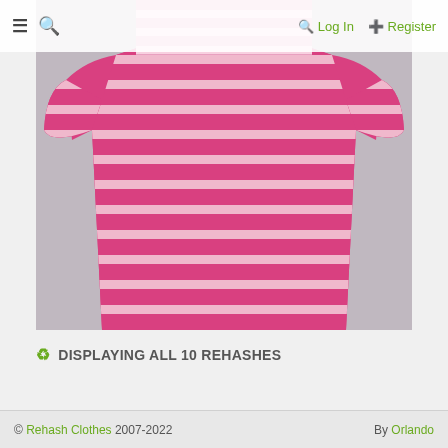≡  🔍  Log In  Register
[Figure (photo): A pink and white horizontally striped polo shirt laid flat against a grey background. The shirt has short sleeves and visible collar at top.]
♻ DISPLAYING ALL 10 REHASHES
© Rehash Clothes 2007-2022   By Orlando